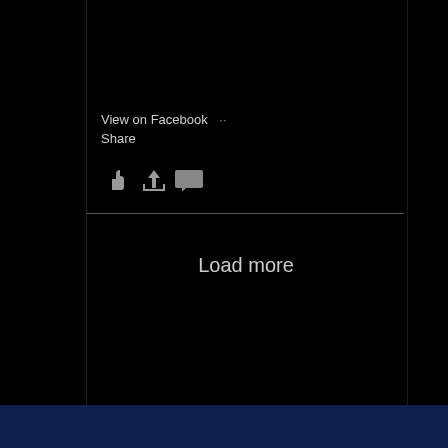[Figure (photo): Partial view of two or three people's faces cropped at the top of the panel, one with dark hair and tanned skin on the left, one with blonde/white hair in the center-right, and a green background area on the right]
View on Facebook  ··  Share
[Figure (other): Three small social media icons: a thumbs-up like icon, a share/forward arrow icon, and a comment/message box icon, all in grey]
Load more